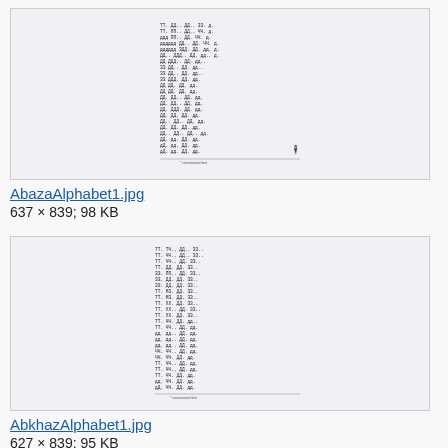[Figure (other): Scanned image of Abaza Alphabet table showing letters and their transliterations]
AbazaAlphabet1.jpg
637 × 839; 98 KB
[Figure (other): Scanned image of Abkhaz Alphabet table showing letters and their transliterations]
AbkhazAlphabet1.jpg
627 × 839; 95 KB